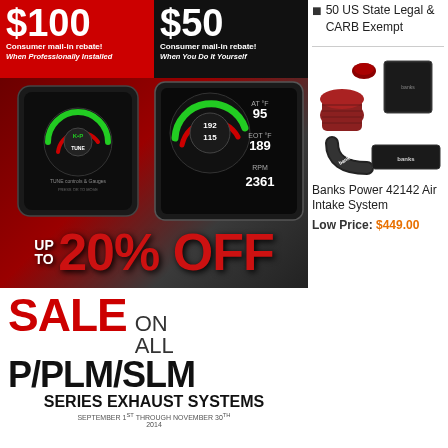[Figure (infographic): Red background rebate banner: $100 Consumer mail-in rebate! When Professionally Installed]
[Figure (infographic): Black background rebate banner: $50 Consumer mail-in rebate! When You Do It Yourself]
[Figure (photo): HP Tuners device promotion showing tune device with gauges displaying AT F 95, EOT F 189, RPM 2361 and text UP TO 20% OFF on red/dark background]
[Figure (infographic): White background sale promotion: SALE ON ALL P/PLM/SLM SERIES EXHAUST SYSTEMS September 1st through November 30th 2014]
50 US State Legal & CARB Exempt
[Figure (photo): Banks Power air intake system components: filters, housing box, connectors on white background]
Banks Power 42142 Air Intake System
Low Price: $449.00